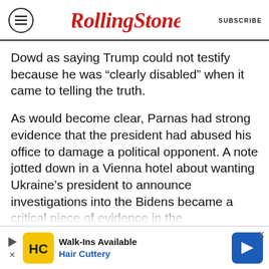RollingStone | SUBSCRIBE
Dowd as saying Trump could not testify because he was “clearly disabled” when it came to telling the truth.
As would become clear, Parnas had strong evidence that the president had abused his office to damage a political opponent. A note jotted down in a Vienna hotel about wanting Ukraine’s president to announce investigations into the Bidens became a critical piece of evidence in the impeachment inquiry. “It is not every day that you get a document like this — what appears to be a member of the conspiracy writing down the object of the conspiracy, but that is exactly what we see
[Figure (other): Advertisement banner for Hair Cuttery: Walk-Ins Available, Hair Cuttery, with HC logo and navigation arrow icon]